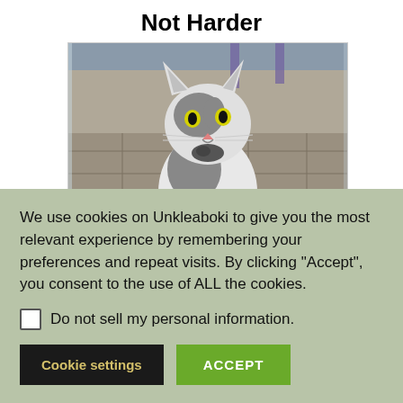Not Harder
[Figure (photo): A gray and white cat standing at a glass door, holding something in its mouth (appears to be a small animal or object), photographed from inside looking out onto a stone patio.]
Someone: Grass is green
Color blind people:
[Figure (photo): Partially visible image showing blurred colorful scene, cropped by the cookie consent banner.]
We use cookies on Unkleaboki to give you the most relevant experience by remembering your preferences and repeat visits. By clicking “Accept”, you consent to the use of ALL the cookies.
Do not sell my personal information.
Cookie settings
ACCEPT